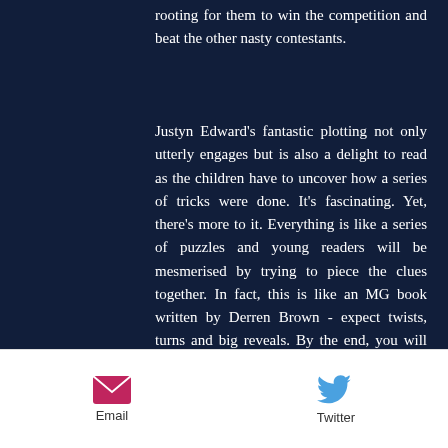rooting for them to win the competition and beat the other nasty contestants.
Justyn Edward's fantastic plotting not only utterly engages but is also a delight to read as the children have to uncover how a series of tricks were done. It's fascinating. Yet, there's more to it. Everything is like a series of puzzles and young readers will be mesmerised by trying to piece the clues together. In fact, this is like an MG book written by Derren Brown - expect twists, turns and big reveals. By the end, you will be applauding.
Congratulations Justyn Edwards! 'The Great Fox Illusion' is superb entertainment.
Email  Twitter